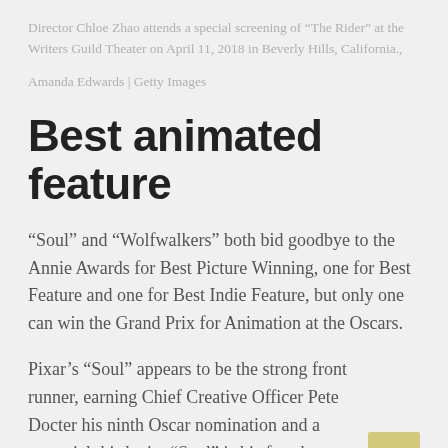Director Chloe Zhao attends a special screening of “The Rider” at the Writers Guild Theater on April 11, 2018 in Beverly Hills, California.,
Amanda Edwards | Getty Images
Best animated feature
“Soul” and “Wolfwalkers” both bid goodbye to the Annie Awards for Best Picture Winning, one for Best Feature and one for Best Indie Feature, but only one can win the Grand Prix for Animation at the Oscars.
Pixar’s “Soul” appears to be the strong front runner, earning Chief Creative Officer Pete Docter his ninth Oscar nomination and a potential third win. “Soul” is his fourth nomination for Best Animated Feature, a record for the category first given in 2002.